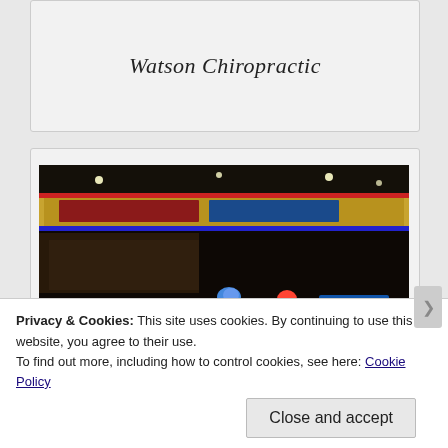Watson Chiropractic
[Figure (photo): BMX racing photo showing multiple riders on bikes at an indoor racing event with a large banner/sign in the background reading something like 'North' and crowd in the stands. Night-time indoor venue with track lighting.]
Privacy & Cookies: This site uses cookies. By continuing to use this website, you agree to their use.
To find out more, including how to control cookies, see here: Cookie Policy
Close and accept